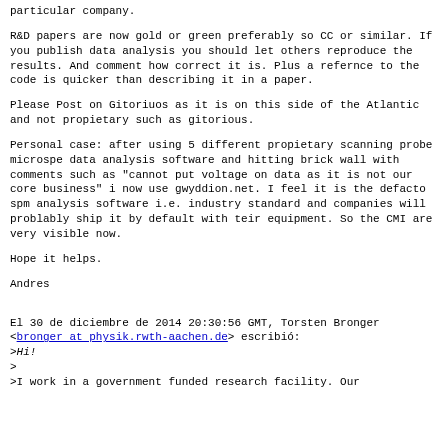particular company.
R&D papers are now gold or green preferably so CC or similar. If you publish data analysis you should let others reproduce the results. And comment how correct it is. Plus a refernce to the code is quicker than describing it in a paper.
Please Post on Gitoriuos as it is on this side of the Atlantic and not propietary such as gitorious.
Personal case: after using 5 different propietary scanning probe microspe data analysis software and hitting brick wall with comments such as "cannot put voltage on data as it is not our core business" i now use gwyddion.net. I feel it is the defacto spm analysis software i.e. industry standard and companies will problably ship it by default with teir equipment. So the CMI are very visible now.
Hope it helps.
Andres
El 30 de diciembre de 2014 20:30:56 GMT, Torsten Bronger <bronger at physik.rwth-aachen.de> escribió:
>Hi!
>
>I work in a government funded research facility. Our